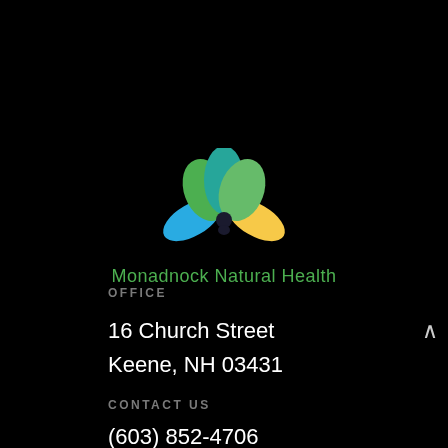[Figure (logo): Monadnock Natural Health logo: a colorful lotus/flower shape with blue, green, teal, and yellow petals and a small dark figure in the center, with the text 'Monadnock Natural Health' in green below]
OFFICE
16 Church Street
Keene, NH 03431
CONTACT US
(603) 852-4706